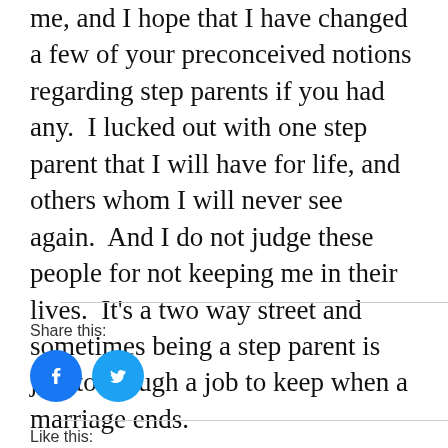me, and I hope that I have changed a few of your preconceived notions regarding step parents if you had any.  I lucked out with one step parent that I will have for life, and others whom I will never see again.  And I do not judge these people for not keeping me in their lives.  It's a two way street and sometimes being a step parent is just too tough a job to keep when a marriage ends.
Share this:
[Figure (illustration): Facebook share button (blue circle with white Facebook logo) and Twitter share button (blue circle with white Twitter bird logo)]
Like this: